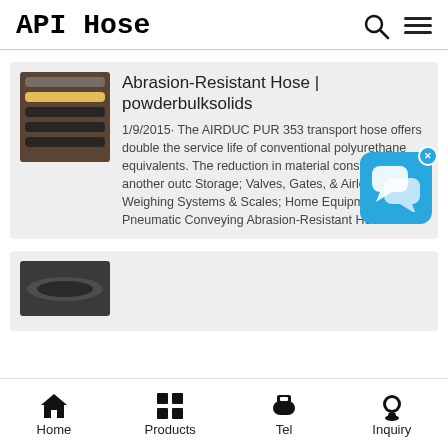API Hose
[Figure (screenshot): Thumbnail image of industrial hoses bundled together]
Abrasion-Resistant Hose | powderbulksolids
1/9/2015· The AIRDUC PUR 353 transport hose offers double the service life of conventional polyurethane equivalents. The reduction in material consumption is another outc Storage; Valves, Gates, & Airlocks; Weighing Systems & Scales; Home Equipment Pneumatic Conveying Abrasion-Resistant Hose
[Figure (screenshot): Thumbnail image of a black industrial hose]
Home  Products  Tel  Inquiry